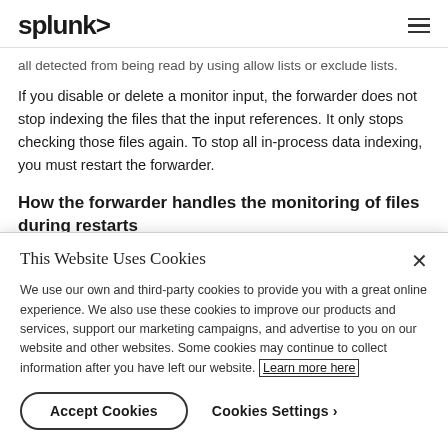splunk>
all detected from being read by using allow lists or exclude lists.
If you disable or delete a monitor input, the forwarder does not stop indexing the files that the input references. It only stops checking those files again. To stop all in-process data indexing, you must restart the forwarder.
How the forwarder handles the monitoring of files during restarts
When you restart a forwarder, it continues processing files where it left off before the restart, first checking for the file's alignment...
This Website Uses Cookies

We use our own and third-party cookies to provide you with a great online experience. We also use these cookies to improve our products and services, support our marketing campaigns, and advertise to you on our website and other websites. Some cookies may continue to collect information after you have left our website. Learn more here

Accept Cookies    Cookies Settings ›